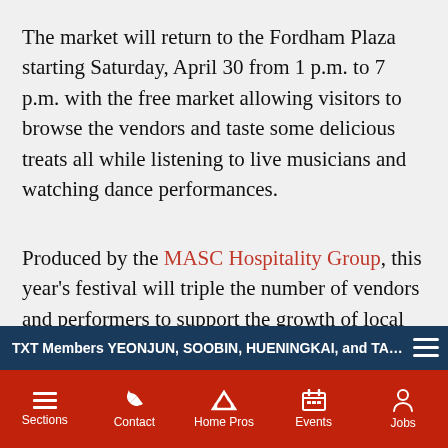The market will return to the Fordham Plaza starting Saturday, April 30 from 1 p.m. to 7 p.m. with the free market allowing visitors to browse the vendors and taste some delicious treats all while listening to live musicians and watching dance performances.
Produced by the MASC Hospitality Group, this year's festival will triple the number of vendors and performers to support the growth of local small underrepresented businesses by empowering them economically, allowing for cultural expression and encouraging community development.
TXT Members YEONJUN, SOOBIN, HUENINGKAI, and TAEHYUN Play E…
Sections | Contact | Home Pros | Events | Jobs